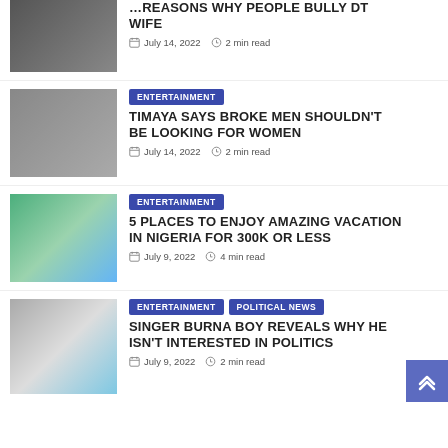[Figure (photo): Partial top article thumbnail - woman in dark outfit]
...REASONS WHY PEOPLE BULLY DT WIFE
July 14, 2022  2 min read
[Figure (photo): Man with dreadlocks and sunglasses]
ENTERTAINMENT
TIMAYA SAYS BROKE MEN SHOULDN'T BE LOOKING FOR WOMEN
July 14, 2022  2 min read
[Figure (photo): Tropical beach resort with palm trees and pool chairs]
ENTERTAINMENT
5 PLACES TO ENJOY AMAZING VACATION IN NIGERIA FOR 300K OR LESS
July 9, 2022  4 min read
[Figure (photo): Singer Burna Boy smiling with glasses and braids]
ENTERTAINMENT  POLITICAL NEWS
SINGER BURNA BOY REVEALS WHY HE ISN'T INTERESTED IN POLITICS
July 9, 2022  2 min read